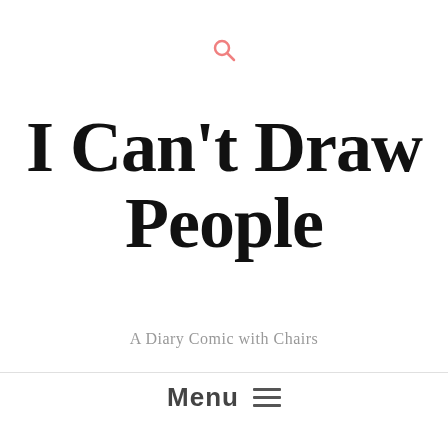[Figure (other): Pink search magnifying glass icon]
I Can't Draw People
A Diary Comic with Chairs
Menu ≡